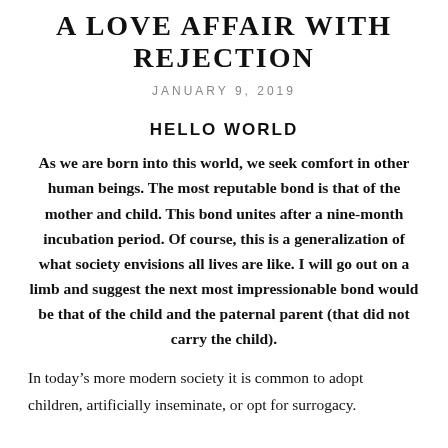A LOVE AFFAIR WITH REJECTION
JANUARY 9, 2019
HELLO WORLD
As we are born into this world, we seek comfort in other human beings. The most reputable bond is that of the mother and child. This bond unites after a nine-month incubation period. Of course, this is a generalization of what society envisions all lives are like. I will go out on a limb and suggest the next most impressionable bond would be that of the child and the paternal parent (that did not carry the child).
In today's more modern society it is common to adopt children, artificially inseminate, or opt for surrogacy.